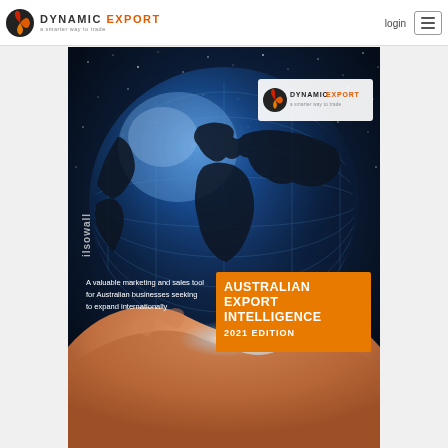DYNAMIC EXPORT — a smarter way to trade | login
[Figure (illustration): Book cover for 'Australian Export Intelligence 2021 Edition' published by Dynamic Export. Features a glowing blue globe with world map silhouette held in cupped human hands against a starry night sky background. Includes 'ilsowall' vertical text on left side, Dynamic Export logo top right, orange banner with title text, and white subtitle text reading: A valuable marketing and sales tool for Australian businesses seeking to expand internationally.]